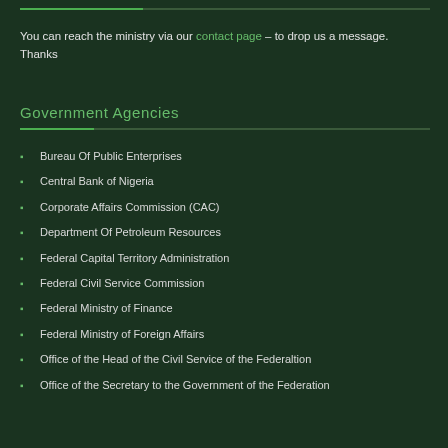You can reach the ministry via our contact page – to drop us a message. Thanks
Government Agencies
Bureau Of Public Enterprises
Central Bank of Nigeria
Corporate Affairs Commission (CAC)
Department Of Petroleum Resources
Federal Capital Territory Administration
Federal Civil Service Commission
Federal Ministry of Finance
Federal Ministry of Foreign Affairs
Office of the Head of the Civil Service of the Federaltion
Office of the Secretary to the Government of the Federation